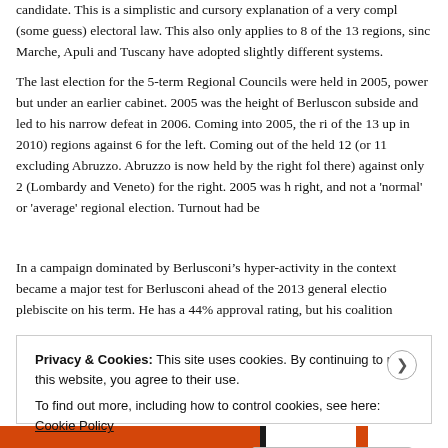candidate. This is a simplistic and cursory explanation of a very complex (some guess) electoral law. This also only applies to 8 of the 13 regions, since Marche, Apuli and Tuscany have adopted slightly different systems.
The last election for the 5-term Regional Councils were held in 2005, power but under an earlier cabinet. 2005 was the height of Berlusconi subside and led to his narrow defeat in 2006. Coming into 2005, the right of the 13 up in 2010) regions against 6 for the left. Coming out of the held 12 (or 11 excluding Abruzzo. Abruzzo is now held by the right fol there) against only 2 (Lombardy and Veneto) for the right. 2005 was h right, and not a 'normal' or 'average' regional election. Turnout had be
In a campaign dominated by Berlusconi's hyper-activity in the context became a major test for Berlusconi ahead of the 2013 general election plebiscite on his term. He has a 44% approval rating, but his coalition
Privacy & Cookies: This site uses cookies. By continuing to use this website, you agree to their use.
To find out more, including how to control cookies, see here: Cookie Policy